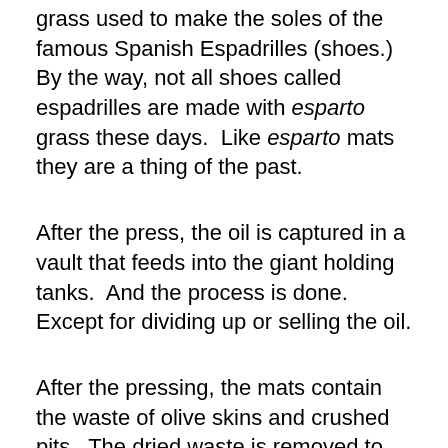grass used to make the soles of the famous Spanish Espadrilles (shoes.)  By the way, not all shoes called espadrilles are made with esparto grass these days.  Like esparto mats they are a thing of the past.
After the press, the oil is captured in a vault that feeds into the giant holding tanks.  And the process is done. Except for dividing up or selling the oil.
After the pressing, the mats contain the waste of olive skins and crushed pits.  The dried waste is removed to create another usable byproduct.  It can be burned like peat for heat.  We watched them use it in the mill furnace. It also can be put back on the land as fertilizer or it can be used as sound insulation.  The crushed